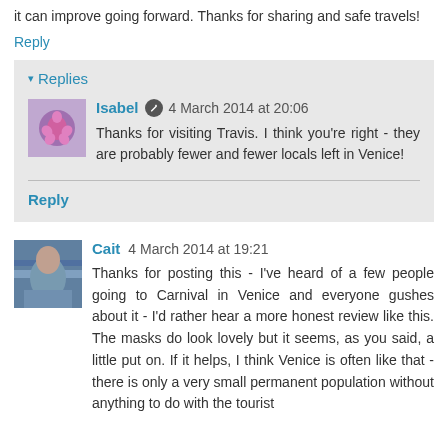it can improve going forward. Thanks for sharing and safe travels!
Reply
▾ Replies
Isabel  4 March 2014 at 20:06
Thanks for visiting Travis. I think you're right - they are probably fewer and fewer locals left in Venice!
Reply
Cait  4 March 2014 at 19:21
Thanks for posting this - I've heard of a few people going to Carnival in Venice and everyone gushes about it - I'd rather hear a more honest review like this. The masks do look lovely but it seems, as you said, a little put on. If it helps, I think Venice is often like that - there is only a very small permanent population without anything to do with the tourist